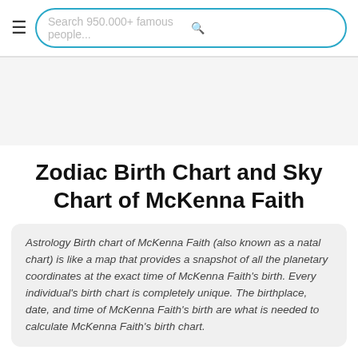≡  Search 950.000+ famous people...  🔍
Zodiac Birth Chart and Sky Chart of McKenna Faith
Astrology Birth chart of McKenna Faith (also known as a natal chart) is like a map that provides a snapshot of all the planetary coordinates at the exact time of McKenna Faith's birth. Every individual's birth chart is completely unique. The birthplace, date, and time of McKenna Faith's birth are what is needed to calculate McKenna Faith's birth chart.
MCKENNA FAITH INFORMATION